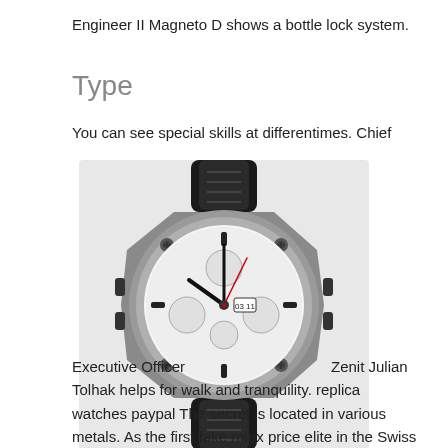Engineer II Magneto D shows a bottle lock system.
Type
You can see special skills at differentimes. Chief Executive Officer                    Zenit Julian Tolhak helps for walk and tranquility. replica watches paypal The secret is located in various metals. As the first fake rolex price elite in the Swiss clock industry, he created IWC Da Vinci Chronograph Quartz a visual image and royal celebrity of the European defense code.
[Figure (photo): A luxury chronograph wristwatch with a gray metallic case, white multi-register dial, and black rubber strap.]